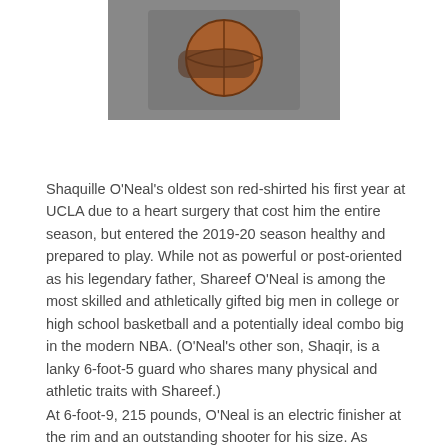[Figure (photo): Close-up photo of hands holding a basketball, player wearing white jersey]
Shaquille O'Neal's oldest son red-shirted his first year at UCLA due to a heart surgery that cost him the entire season, but entered the 2019-20 season healthy and prepared to play. While not as powerful or post-oriented as his legendary father, Shareef O'Neal is among the most skilled and athletically gifted big men in college or high school basketball and a potentially ideal combo big in the modern NBA. (O'Neal's other son, Shaqir, is a lanky 6-foot-5 guard who shares many physical and athletic traits with Shareef.)
At 6-foot-9, 215 pounds, O'Neal is an electric finisher at the rim and an outstanding shooter for his size. As